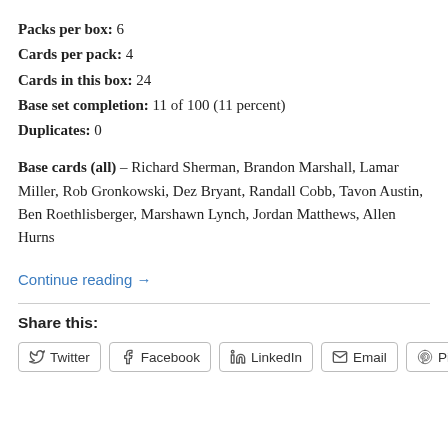Packs per box: 6
Cards per pack: 4
Cards in this box: 24
Base set completion: 11 of 100 (11 percent)
Duplicates: 0
Base cards (all) – Richard Sherman, Brandon Marshall, Lamar Miller, Rob Gronkowski, Dez Bryant, Randall Cobb, Tavon Austin, Ben Roethlisberger, Marshawn Lynch, Jordan Matthews, Allen Hurns
Continue reading →
Share this:
Twitter   Facebook   LinkedIn   Email   Pinterest